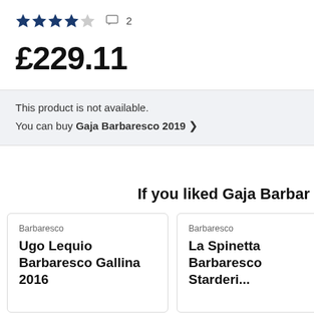★★★★☆ 2
£229.11
This product is not available.
You can buy Gaja Barbaresco 2019 >
If you liked Gaja Barbar
Barbaresco
Ugo Lequio Barbaresco Gallina 2016
Barbaresco
La Spinetta Barbaresco Starderi...